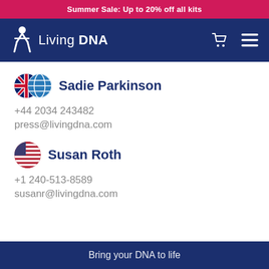Summer Sale: Up to 20% off all kits
[Figure (logo): Living DNA logo with white walking figure icon and text 'Living DNA' in white on dark blue navigation bar with cart icon and hamburger menu]
Sadie Parkinson
+44 2034 243482
press@livingdna.com
Susan Roth
+1 240-513-8589
susanr@livingdna.com
Bring your DNA to life